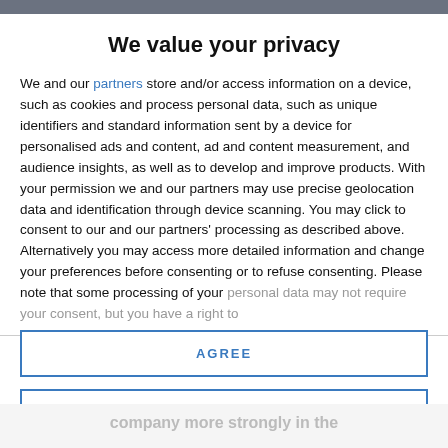We value your privacy
We and our partners store and/or access information on a device, such as cookies and process personal data, such as unique identifiers and standard information sent by a device for personalised ads and content, ad and content measurement, and audience insights, as well as to develop and improve products. With your permission we and our partners may use precise geolocation data and identification through device scanning. You may click to consent to our and our partners' processing as described above. Alternatively you may access more detailed information and change your preferences before consenting or to refuse consenting. Please note that some processing of your personal data may not require your consent, but you have a right to
AGREE
MORE OPTIONS
company more strongly in the